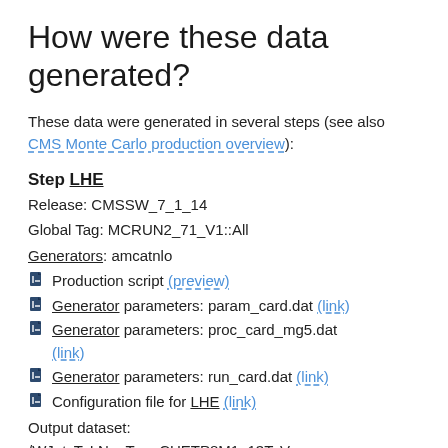How were these data generated?
These data were generated in several steps (see also CMS Monte Carlo production overview):
Step LHE
Release: CMSSW_7_1_14
Global Tag: MCRUN2_71_V1::All
Generators: amcatnlo
Production script (preview)
Generator parameters: param_card.dat (link)
Generator parameters: proc_card_mg5.dat (link)
Generator parameters: run_card.dat (link)
Configuration file for LHE (link)
Output dataset:
/WJetsToLNu_TuneCUETP8M1_13TeV-amcatnloFXFX-pythia8/RunIIWinter15wmLHE-